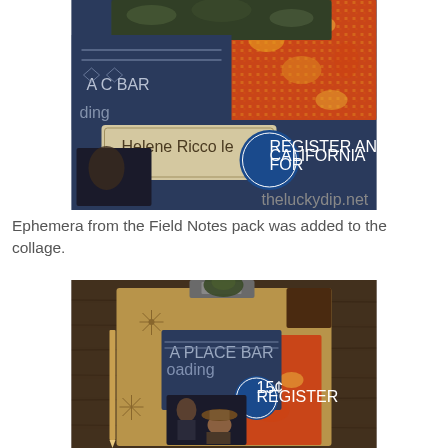[Figure (photo): Close-up photo of a handmade collage with dark navy blue background, vintage typography letters (A, C, BAR), an orange/red textured paper, a vintage label or tag with cursive handwriting reading 'Helene Ricco le', a circular blue badge reading 'REGISTER AND CALIFORNIA FOR', dark green mossy/textured element at top, and partial portrait photograph.]
Ephemera from the Field Notes pack was added to the collage.
[Figure (photo): Photo of a completed junk journal or art journal spread with clipboard clip at top holding papers. Features vintage typography, orange/red patterned paper, vintage portrait photographs of a man in a suit and a woman in a hat, a circular blue badge with '15¢', decorative black star/starburst patterned kraft paper, and wood background.]